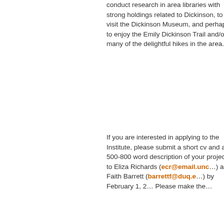conduct research in area libraries with strong holdings related to Dickinson, to visit the Dickinson Museum, and perhaps to enjoy the Emily Dickinson Trail and/or many of the delightful hikes in the area.
If you are interested in applying to the Institute, please submit a short cv and a 500-800 word description of your project to Eliza Richards (ecr@email.unc...) and Faith Barrett (barrettf@duq.e...) by February 1, 2... Please make the...